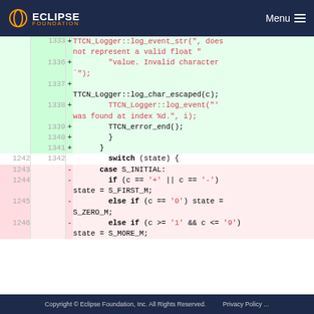Eclipse Foundation Menu
[Figure (screenshot): Code diff view showing lines 1333-1246 of a C++ source file with added lines (green) and removed lines (pink). Added lines include TTCN_Logger calls and removed lines include switch/case state machine logic.]
Copyright © Eclipse Foundation, Inc. All Rights Reserved. Privacy Policy ...